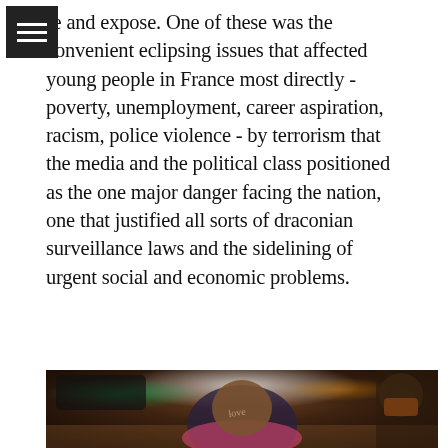re and expose. One of these was the convenient eclipsing issues that affected young people in France most directly - poverty, unemployment, career aspiration, racism, police violence - by terrorism that the media and the political class positioned as the one major danger facing the nation, one that justified all sorts of draconian surveillance laws and the sidelining of urgent social and economic problems.
[Figure (photo): A person wearing a patterned headscarf and pink knit scarf with writing on their face, photographed at night in an urban setting with blurred lights and cars in the background. Another person wearing a mask is partially visible on the right.]